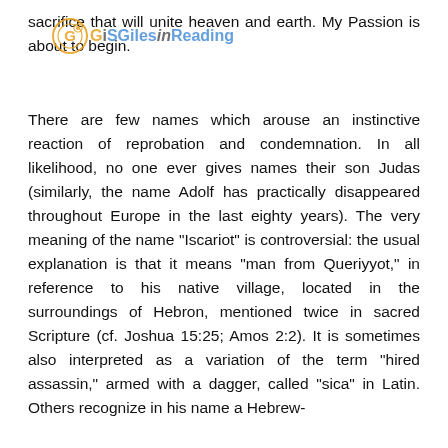sacrifice that will unite heaven and earth. My Passion is about to begin.
[Figure (logo): SGilesinReading watermark logo with circular icon on the left]
There are few names which arouse an instinctive reaction of reprobation and condemnation. In all likelihood, no one ever gives names their son Judas (similarly, the name Adolf has practically disappeared throughout Europe in the last eighty years). The very meaning of the name "Iscariot" is controversial: the usual explanation is that it means "man from Queriyyot," in reference to his native village, located in the surroundings of Hebron, mentioned twice in sacred Scripture (cf. Joshua 15:25; Amos 2:2). It is sometimes also interpreted as a variation of the term "hired assassin," armed with a dagger, called "sica" in Latin. Others recognize in his name a Hebrew-